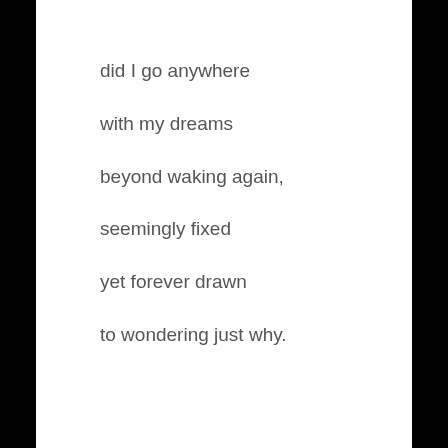did I go anywhere

with my dreams

beyond waking again,

seemingly fixed

yet forever drawn

to wondering just why.